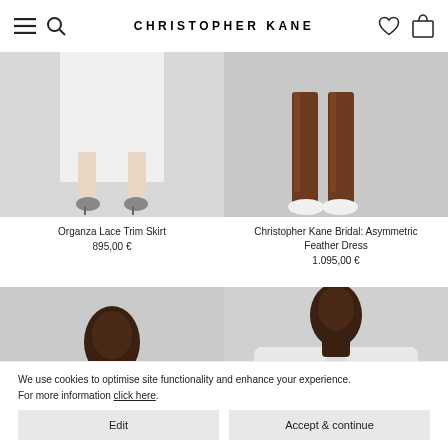CHRISTOPHER KANE
[Figure (photo): Fashion product photo: lower half of model in white skirt and black heeled shoes with floral detail, grey background]
[Figure (photo): Fashion product photo: lower half of model with dark brown knee-high boots and white pointed shoes, grey background]
Organza Lace Trim Skirt
895,00 €
Christopher Kane Bridal: Asymmetric Feather Dress
1.095,00 €
[Figure (photo): Fashion product photo: model wearing white structured top/jacket, close-up of face and upper body, grey background]
[Figure (photo): Fashion product photo: model wearing white oversized coat/jacket, grey background]
We use cookies to optimise site functionality and enhance your experience. For more information click here.
Edit
Accept & continue